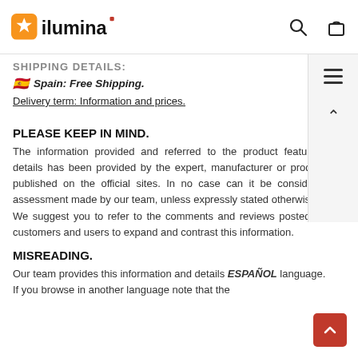ilumina (logo) + search and bag icons
SHIPPING DETAILS: (partially cut off)
🇪🇸 Spain: Free Shipping.
Delivery term: Information and prices.
PLEASE KEEP IN MIND.
The information provided and referred to the product features and details has been provided by the expert, manufacturer or producer or published on the official sites. In no case can it be considered as assessment made by our team, unless expressly stated otherwise. We suggest you to refer to the comments and reviews posted by our customers and users to expand and contrast this information.
MISREADING.
Our team provides this information and details ESPAÑOL language.
If you browse in another language note that the